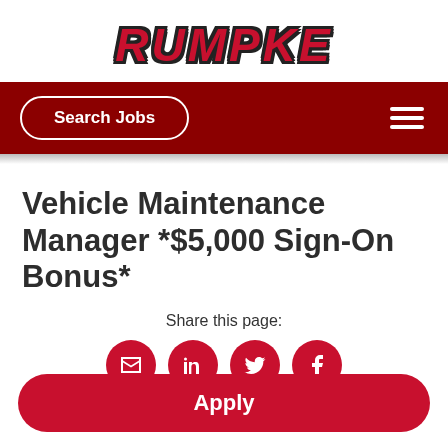[Figure (logo): Rumpke company logo in red bold italic text with dark outline]
Search Jobs
Vehicle Maintenance Manager *$5,000 Sign-On Bonus*
Share this page:
[Figure (infographic): Four red circular social share icons: email, LinkedIn, Twitter, Facebook]
Apply